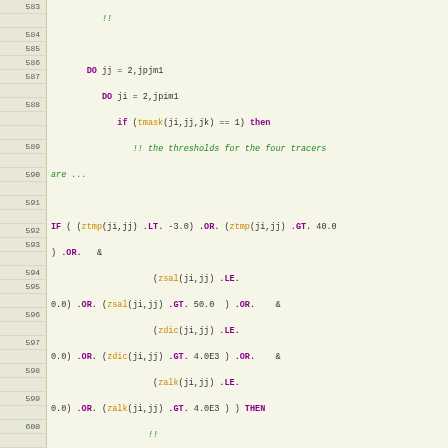[Figure (screenshot): Fortran source code listing lines 583-601, showing nested DO loops with IF conditions checking tracer thresholds (temperature, salinity, DIC, alkalinity) and WRITE/CALL statements for reporting excursions.]